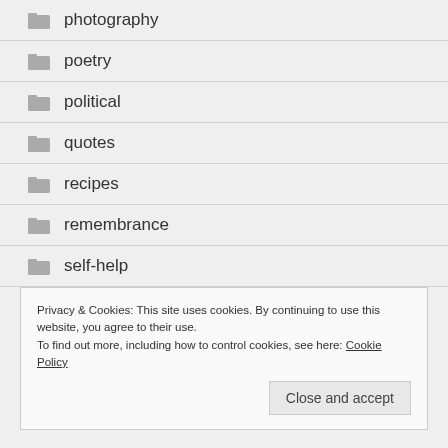photography
poetry
political
quotes
recipes
remembrance
self-help
Privacy & Cookies: This site uses cookies. By continuing to use this website, you agree to their use.
To find out more, including how to control cookies, see here: Cookie Policy
Close and accept